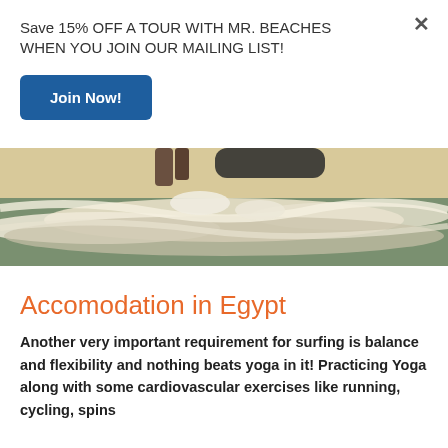Save 15% OFF A TOUR WITH MR. BEACHES WHEN YOU JOIN OUR MAILING LIST!
Join Now!
[Figure (photo): Surfing photo showing ocean waves with a surfer's legs and board visible at the top, water splashing]
Accomodation in Egypt
Another very important requirement for surfing is balance and flexibility and nothing beats yoga in it! Practicing Yoga along with some cardiovascular exercises like running, cycling, spins